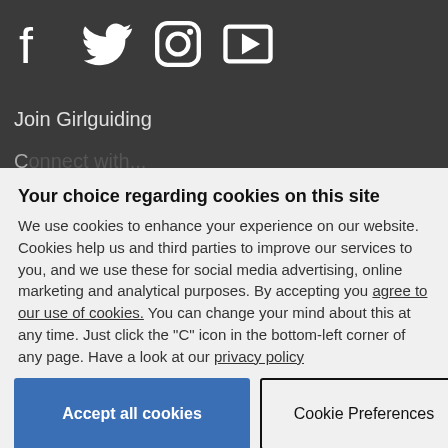[Figure (other): Social media icons: Facebook, Twitter, Instagram, YouTube/video play button, in white on dark grey background]
Join Girlguiding
Your choice regarding cookies on this site
We use cookies to enhance your experience on our website. Cookies help us and third parties to improve our services to you, and we use these for social media advertising, online marketing and analytical purposes. By accepting you agree to our use of cookies. You can change your mind about this at any time. Just click the "C" icon in the bottom-left corner of any page. Have a look at our privacy policy